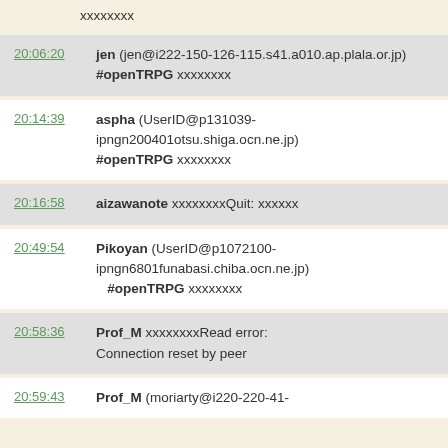xxxxxxxx
20:06:20  jen (jen@i222-150-126-115.s41.a010.ap.plala.or.jp) #openTRPG xxxxxxxx
20:14:39  aspha (UserID@p131039-ipngn200401otsu.shiga.ocn.ne.jp) #openTRPG xxxxxxxx
20:16:58  aizawanote xxxxxxxxQuit: xxxxxx
20:49:54  Pikoyan (UserID@p1072100-ipngn6801funabasi.chiba.ocn.ne.jp) #openTRPG xxxxxxxx
20:58:36  Prof_M xxxxxxxxRead error: Connection reset by peer
20:59:43  Prof_M (moriarty@i220-220-41-...